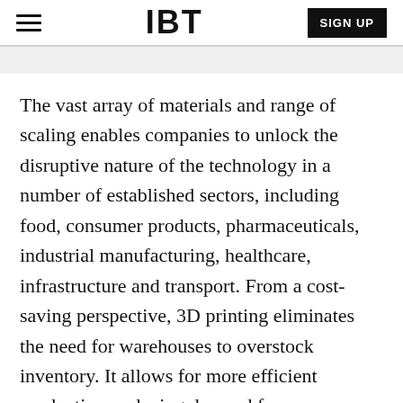IBT   SIGN UP
The vast array of materials and range of scaling enables companies to unlock the disruptive nature of the technology in a number of established sectors, including food, consumer products, pharmaceuticals, industrial manufacturing, healthcare, infrastructure and transport. From a cost-saving perspective, 3D printing eliminates the need for warehouses to overstock inventory. It allows for more efficient production, reducing demand for raw materials. It also accelerates the